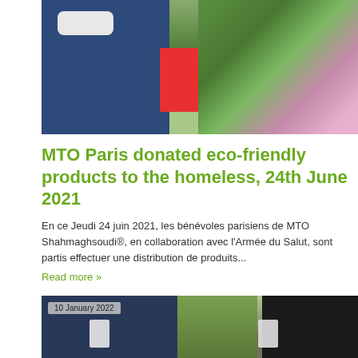[Figure (photo): Photo of MTO volunteer wearing mask and blue polo shirt holding a red gift box, with pink flowers in the background]
MTO Paris donated eco-friendly products to the homeless, 24th June 2021
En ce Jeudi 24 juin 2021, les bénévoles parisiens de MTO Shahmaghsoudi®, en collaboration avec l'Armée du Salut, sont partis effectuer une distribution de produits...
Read more »
[Figure (photo): Photo dated 10 January 2022 showing people holding white bags outdoors with trees in background]